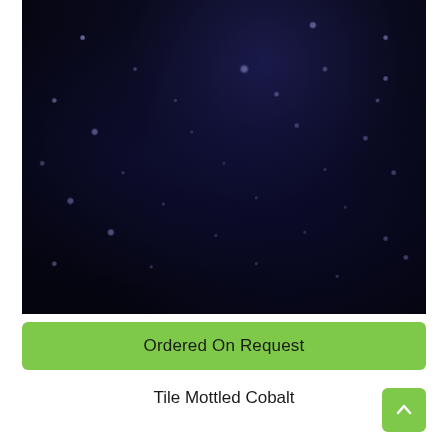[Figure (photo): Close-up photograph of a dark cobalt blue mottled ceramic tile surface with small scattered light blue/white speckles and a deep navy background.]
Ordered On Request
Tile Mottled Cobalt